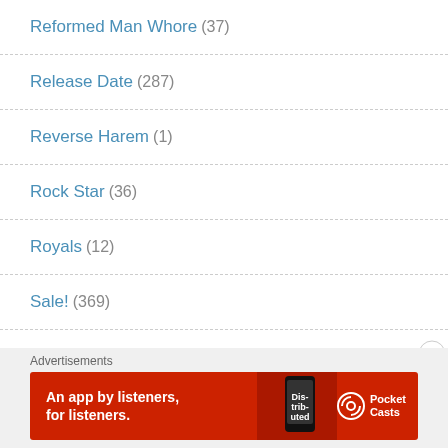Reformed Man Whore (37)
Release Date (287)
Reverse Harem (1)
Rock Star (36)
Royals (12)
Sale! (369)
Sci-Fi (13)
Second Chance (157)
Advertisements
[Figure (other): Pocket Casts advertisement banner: red background, white text reading 'An app by listeners, for listeners.' with Pocket Casts logo and app screenshot]